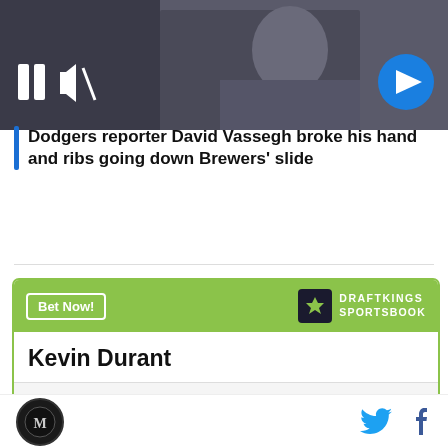[Figure (screenshot): Video thumbnail showing a person in a dark room, with video playback controls including pause and mute buttons, and a blue circular arrow/next button on the right]
Dodgers reporter David Vassegh broke his hand and ribs going down Brewers' slide
[Figure (infographic): DraftKings Sportsbook betting widget showing Kevin Durant To win MVP at +1200 odds]
Site logo | Twitter | Facebook